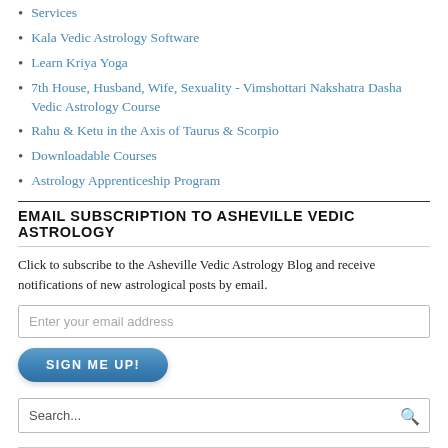Services
Kala Vedic Astrology Software
Learn Kriya Yoga
7th House, Husband, Wife, Sexuality - Vimshottari Nakshatra Dasha Vedic Astrology Course
Rahu & Ketu in the Axis of Taurus & Scorpio
Downloadable Courses
Astrology Apprenticeship Program
EMAIL SUBSCRIPTION TO ASHEVILLE VEDIC ASTROLOGY
Click to subscribe to the Asheville Vedic Astrology Blog and receive notifications of new astrological posts by email.
Enter your email address
SIGN ME UP!
Search...